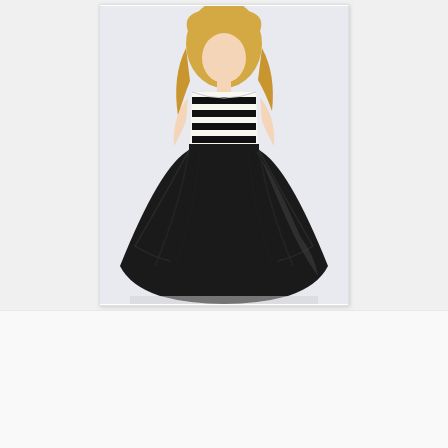[Figure (photo): A woman wearing a black and white strapless ball gown dress with horizontal black and white stripes on the bodice and a voluminous black tulle skirt, posed against a light background.]
MariaFelicia Magno a 08:18:00
Condividi